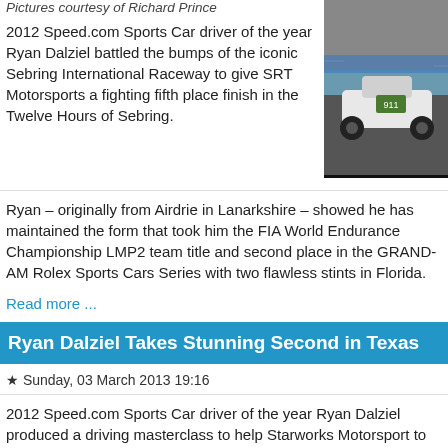Pictures courtesy of Richard Prince
2012 Speed.com Sports Car driver of the year Ryan Dalziel battled the bumps of the iconic Sebring International Raceway to give SRT Motorsports a fighting fifth place finish in the Twelve Hours of Sebring.
[Figure (photo): Racing car on track at Sebring, dark background]
Ryan – originally from Airdrie in Lanarkshire – showed he has maintained the form that took him the FIA World Endurance Championship LMP2 team title and second place in the GRAND-AM Rolex Sports Cars Series with two flawless stints in Florida.
Read more ...
Ryan Dalziel Takes Stunning Second in Texas
Sunday, 03 March 2013 19:16
2012 Speed.com Sports Car driver of the year Ryan Dalziel produced a driving masterclass to help Starworks Motorsport to second place at the Grand-Am Of The Americas in Austin, Texas.